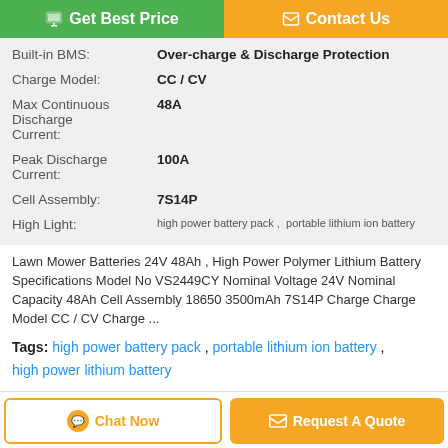[Figure (other): Get Best Price button (green) and Contact Us button (orange) side by side at top]
| Built-in BMS: | Over-charge & Discharge Protection |
| Charge Model: | CC / CV |
| Max Continuous Discharge Current: | 48A |
| Peak Discharge Current: | 100A |
| Cell Assembly: | 7S14P |
| High Light: | high power battery pack , portable lithium ion battery |
Lawn Mower Batteries 24V 48Ah , High Power Polymer Lithium Battery Specifications Model No VS2449CY Nominal Voltage 24V Nominal Capacity 48Ah Cell Assembly 18650 3500mAh 7S14P Charge Charge Model CC / CV Charge ...
Tags: high power battery pack , portable lithium ion battery , high power lithium battery
[Figure (other): Chat Now button (white with orange border) and Request A Quote button (orange) at bottom]